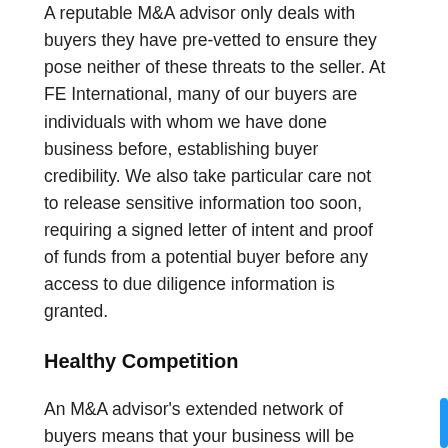A reputable M&A advisor only deals with buyers they have pre-vetted to ensure they pose neither of these threats to the seller. At FE International, many of our buyers are individuals with whom we have done business before, establishing buyer credibility. We also take particular care not to release sensitive information too soon, requiring a signed letter of intent and proof of funds from a potential buyer before any access to due diligence information is granted.
Healthy Competition
An M&A advisor's extended network of buyers means that your business will be visible to numerous investors simultaneously.
Having more than one party interested in your business is a very healthy position to find yourself in, since buyer offers can be played off each other.